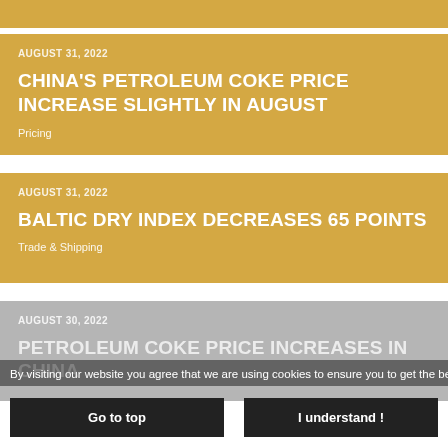AUGUST 31, 2022
CHINA'S PETROLEUM COKE PRICE INCREASE SLIGHTLY IN AUGUST
Pricing
AUGUST 31, 2022
BALTIC DRY INDEX DECREASES 65 POINTS
Trade & Shipping
AUGUST 30, 2022
PETROLEUM COKE PRICE INCREASES IN CHINA
By visiting our website you agree that we are using cookies to ensure you to get the best experience.